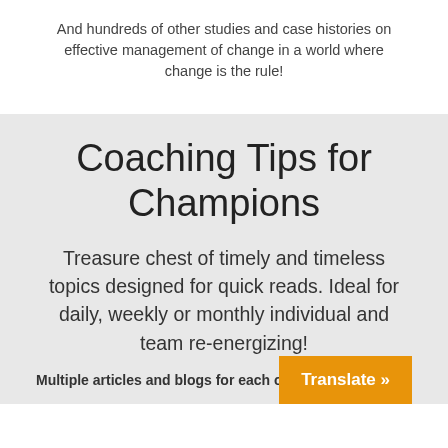And hundreds of other studies and case histories on effective management of change in a world where change is the rule!
Coaching Tips for Champions
Treasure chest of timely and timeless topics designed for quick reads. Ideal for daily, weekly or monthly individual and team re-energizing!
Multiple articles and blogs for each of the
Translate »